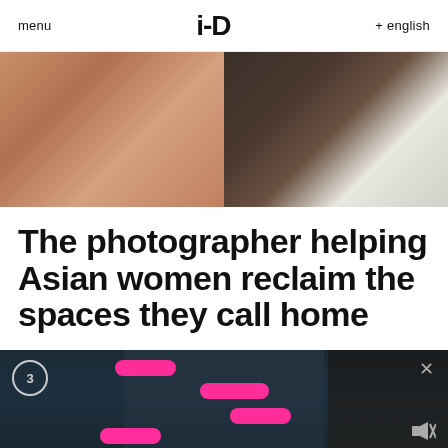menu   i-D   + english
[Figure (photo): Two-panel cropped photo: left panel shows a close-up of a person's arm/shoulder against a light pink background; right panel shows a dark bedroom scene with white bedding and dark tones.]
The photographer helping Asian women reclaim the spaces they call home
[Figure (screenshot): Dark teal/blue-toned photo of a person holding a camera in front of a mirror, with overlaid pink chat bubbles containing question marks and 'Hello????'. A circle badge with '3' is in the top left, an X close button in the top right, and a mute icon in the bottom right.]